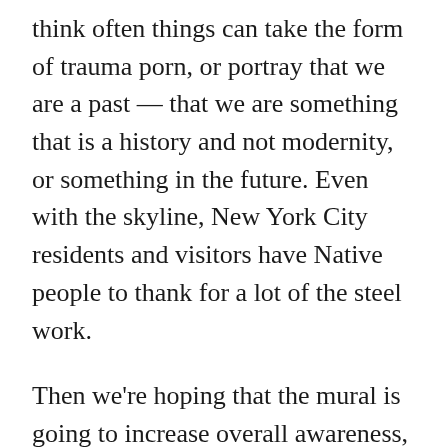think often things can take the form of trauma porn, or portray that we are a past — that we are something that is a history and not modernity, or something in the future. Even with the skyline, New York City residents and visitors have Native people to thank for a lot of the steel work.
Then we're hoping that the mural is going to increase overall awareness, and that we're going to have a space — and we deserve to take up space. Proudly saying we are here, we deserve to be looked at, and pay attention, because we have and always have had something to say. Now we are in a space where our voice can be heard, because it is so predominant.